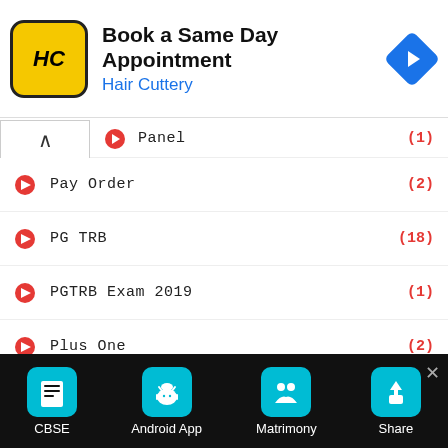[Figure (screenshot): Ad banner for Hair Cuttery: Book a Same Day Appointment]
Pay Order (2)
PG TRB (18)
PGTRB Exam 2019 (1)
Plus One (2)
Poem (1)
Polytechnic Study Materials (1)
Practical Exam Study Materials (3)
[Figure (screenshot): Bottom navigation toolbar with CBSE, Android App, Matrimony, Share icons]